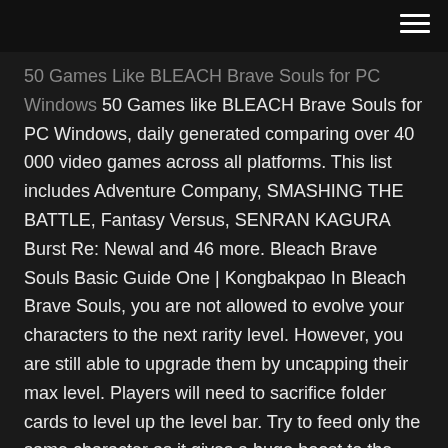hamburger menu icon
50 Games Like BLEACH Brave Souls for PC Windows 50 Games like BLEACH Brave Souls for PC Windows, daily generated comparing over 40 000 video games across all platforms. This list includes Adventure Company, SMASHING THE BATTLE, Fantasy Versus, SENRAN KAGURA Burst Re: Newal and 46 more. Bleach Brave Souls Basic Guide One | Kongbakpao In Bleach Brave Souls, you are not allowed to evolve your characters to the next rarity level. However, you are still able to upgrade them by uncapping their max level. Players will need to sacrifice folder cards to level up the level bar. Try to feed only the same character as it gives a huge boost to the exp.
Cacao Society Chocolate Summons Bleach Brave Souls - YouTube